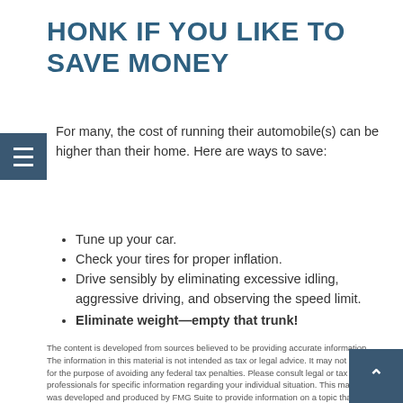HONK IF YOU LIKE TO SAVE MONEY
For many, the cost of running their automobile(s) can be higher than their home. Here are ways to save:
Tune up your car.
Check your tires for proper inflation.
Drive sensibly by eliminating excessive idling, aggressive driving, and observing the speed limit.
Eliminate weight—empty that trunk!
The content is developed from sources believed to be providing accurate information. The information in this material is not intended as tax or legal advice. It may not be used for the purpose of avoiding any federal tax penalties. Please consult legal or tax professionals for specific information regarding your individual situation. This material was developed and produced by FMG Suite to provide information on a topic that may be of interest. FMG Suite is not affiliated with the named broker-dealer, state- or SEC-registered investment advisory firm. The opinions expressed and material provided are for general information, and should not be considered a solicitation for the purchase or sale of any security. Copyright 2022 FMG